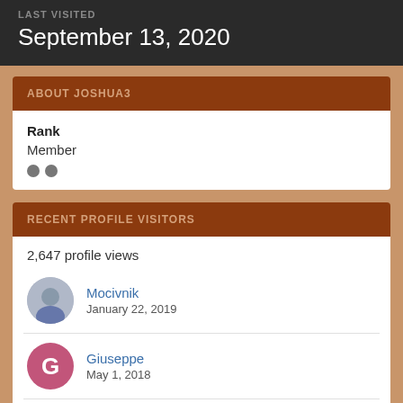LAST VISITED
September 13, 2020
ABOUT JOSHUA3
Rank
Member
RECENT PROFILE VISITORS
2,647 profile views
Mocivnik
January 22, 2019
Giuseppe
May 1, 2018
H2345
September 25, 2017